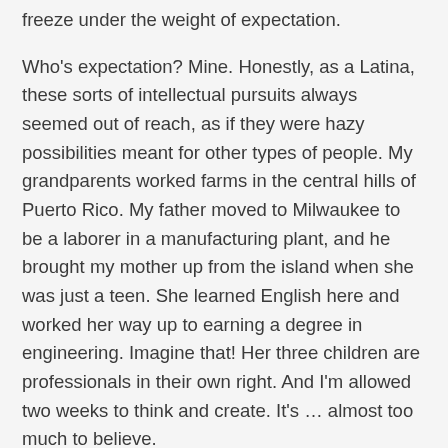freeze under the weight of expectation.
Who's expectation? Mine. Honestly, as a Latina, these sorts of intellectual pursuits always seemed out of reach, as if they were hazy possibilities meant for other types of people. My grandparents worked farms in the central hills of Puerto Rico. My father moved to Milwaukee to be a laborer in a manufacturing plant, and he brought my mother up from the island when she was just a teen. She learned English here and worked her way up to earning a degree in engineering. Imagine that! Her three children are professionals in their own right. And I'm allowed two weeks to think and create. It's … almost too much to believe.
I hear that residencies are game-changers in the lives of creatives. Without even having finished them, mine already are.
Tags: #amwriting, #exclusion, #inthewoods, #residency,